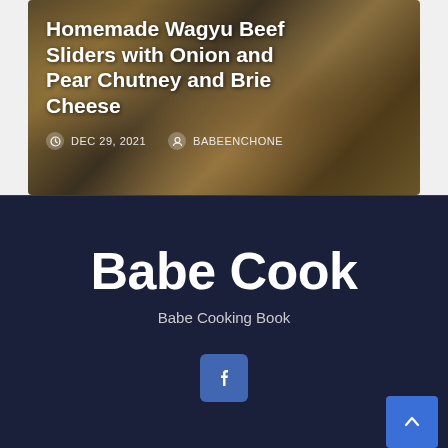Homemade Wagyu Beef Sliders with Onion and Pear Chutney and Brie Cheese
DEC 29, 2021  BABEENCHONE
Babe Cook
Babe Cooking Book
[Figure (logo): Facebook icon button, blue rounded square]
[Figure (other): Back to top arrow button, blue square, bottom right corner]